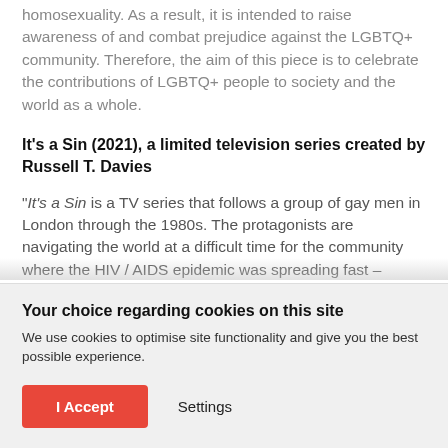homosexuality. As a result, it is intended to raise awareness of and combat prejudice against the LGBTQ+ community. Therefore, the aim of this piece is to celebrate the contributions of LGBTQ+ people to society and the world as a whole.
It's a Sin (2021), a limited television series created by Russell T. Davies
“It’s a Sin is a TV series that follows a group of gay men in London through the 1980s. The protagonists are navigating the world at a difficult time for the community where the HIV / AIDS epidemic was spreading fast – misunderstood and stigmatised by wider society. The
Your choice regarding cookies on this site
We use cookies to optimise site functionality and give you the best possible experience.
I Accept
Settings